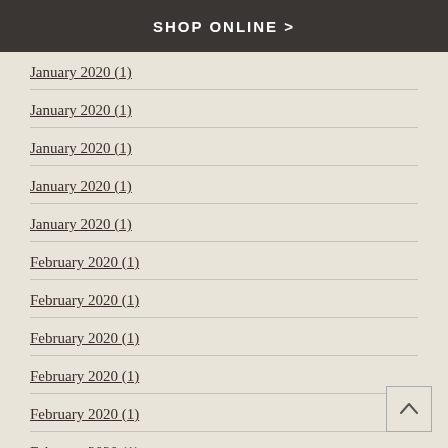SHOP ONLINE >
January 2020 (1)
January 2020 (1)
January 2020 (1)
January 2020 (1)
January 2020 (1)
February 2020 (1)
February 2020 (1)
February 2020 (1)
February 2020 (1)
February 2020 (1)
February 2020 (1)
February 2020 (1)